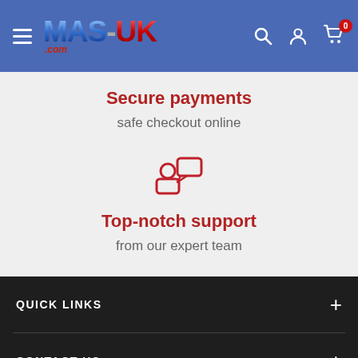MAS-UK.com header with navigation icons
Secure payments
safe checkout online
[Figure (illustration): Icon of a person with a speech/chat bubble, outline style in dark red/crimson]
Top-notch support
from our expert team
QUICK LINKS
CONTACT US